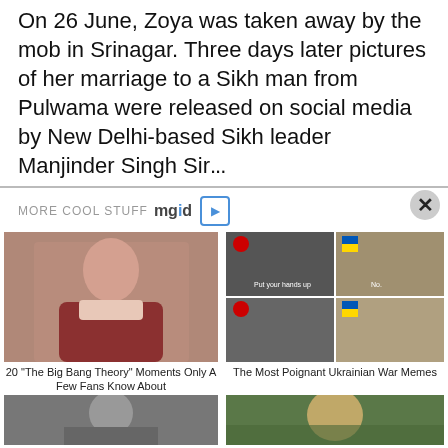On 26 June, Zoya was taken away by the mob in Srinagar. Three days later pictures of her marriage to a Sikh man from Pulwama were released on social media by New Delhi-based Sikh leader Manjinder Singh Sir...
MORE COOL STUFF mgid ▷
[Figure (photo): Woman with glasses in red sweater (Amy Farrah Fowler from Big Bang Theory)]
20 "The Big Bang Theory" Moments Only A Few Fans Know About
[Figure (photo): Four-panel meme with Russia and Ukraine flags, 'Put your hands up' / 'No' text]
The Most Poignant Ukrainian War Memes
[Figure (infographic): Join WhatsApp button with WhatsApp icon]
[Figure (photo): Black and white photo of a woman in military uniform]
10 Of The Most Notorious Female...
[Figure (photo): Man smiling outdoors, close-up shot]
If Prehistoric Beasts Were Alive...